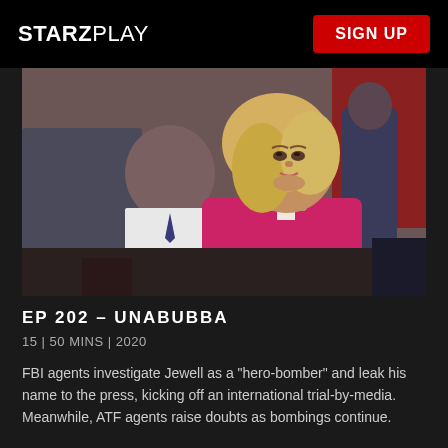STARZPLAY
[Figure (photo): A woman with blonde hair wearing a bright pink/magenta blazer sits in the foreground looking up, with a blurred man in a white shirt and tie behind her, and another blurred figure in the background against a red backdrop.]
EP 202 - UNABUBBA
15 | 50 MINS | 2020
FBI agents investigate Jewell as a "hero-bomber" and leak his name to the press, kicking off an international trial-by-media. Meanwhile, ATF agents raise doubts as bombings continue.